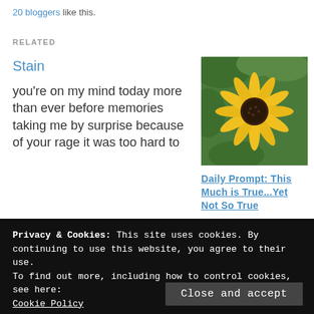20 bloggers like this.
RELATED
Stain
you're on my mind today more than ever before memories taking me by surprise because of your rage it was too hard to
[Figure (photo): Yellow black-eyed Susan flower in bloom with green foliage background]
Daily Prompt: This Much is True...Yet Not So True
[Figure (photo): Sepia-toned photo of figurines or cherubs with dark background]
Privacy & Cookies: This site uses cookies. By continuing to use this website, you agree to their use.
To find out more, including how to control cookies, see here:
Cookie Policy
Close and accept